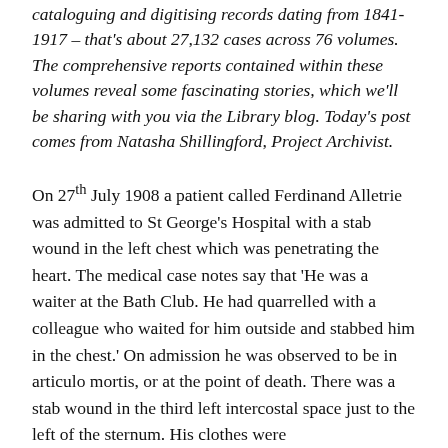cataloguing and digitising records dating from 1841-1917 – that's about 27,132 cases across 76 volumes. The comprehensive reports contained within these volumes reveal some fascinating stories, which we'll be sharing with you via the Library blog. Today's post comes from Natasha Shillingford, Project Archivist.
On 27th July 1908 a patient called Ferdinand Alletrie was admitted to St George's Hospital with a stab wound in the left chest which was penetrating the heart. The medical case notes say that 'He was a waiter at the Bath Club. He had quarrelled with a colleague who waited for him outside and stabbed him in the chest.' On admission he was observed to be in articulo mortis, or at the point of death. There was a stab wound in the third left intercostal space just to the left of the sternum. His clothes were